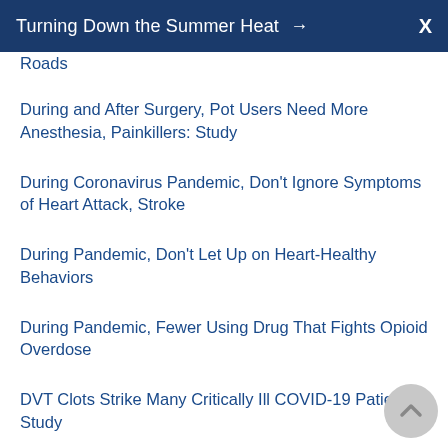Turning Down the Summer Heat →  X
Roads
During and After Surgery, Pot Users Need More Anesthesia, Painkillers: Study
During Coronavirus Pandemic, Don't Ignore Symptoms of Heart Attack, Stroke
During Pandemic, Don't Let Up on Heart-Healthy Behaviors
During Pandemic, Fewer Using Drug That Fights Opioid Overdose
DVT Clots Strike Many Critically Ill COVID-19 Patients: Study
Dying Young From Heart Disease: Where You Live in the U.S. Matters
Each Day Sober Slowly Helps Alcoholics' Brains Recover